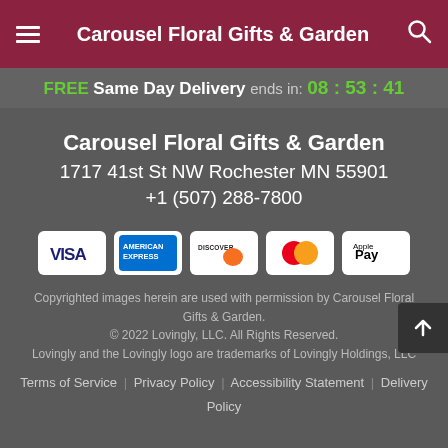Carousel Floral Gifts & Garden
FREE Same Day Delivery ends in: 08 : 53 : 41
Carousel Floral Gifts & Garden
1717 41st St NW Rochester MN 55901
+1 (507) 288-7800
[Figure (logo): Payment method icons: Visa, American Express, Discover, Mastercard, Apple Pay]
Copyrighted images herein are used with permission by Carousel Floral Gifts & Garden.
© 2022 Lovingly, LLC. All Rights Reserved.
Lovingly and the Lovingly logo are trademarks of Lovingly Holdings, LLC
Terms of Service | Privacy Policy | Accessibility Statement | Delivery Policy